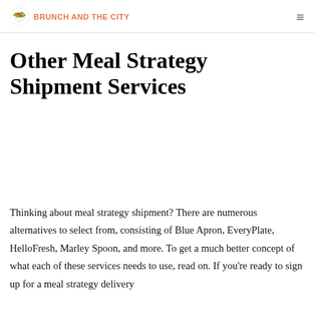BRUNCH AND THE CITY
Other Meal Strategy Shipment Services
Thinking about meal strategy shipment? There are numerous alternatives to select from, consisting of Blue Apron, EveryPlate, HelloFresh, Marley Spoon, and more. To get a much better concept of what each of these services needs to use, read on. If you're ready to sign up for a meal strategy delivery